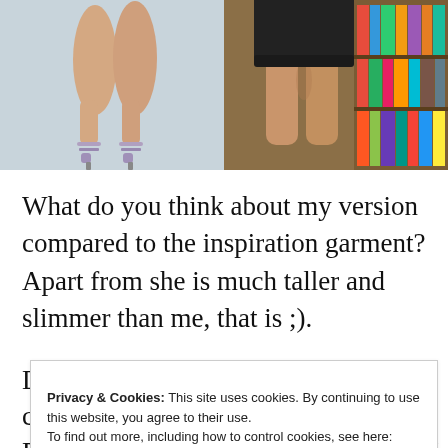[Figure (photo): Two side-by-side photos showing legs: left photo shows a model's legs wearing strappy heeled sandals on a light background; right photo shows legs of a person in a short black skirt standing in front of a colorful bookshelf.]
What do you think about my version compared to the inspiration garment? Apart from she is much taller and slimmer than me, that is ;).
Privacy & Cookies: This site uses cookies. By continuing to use this website, you agree to their use.
To find out more, including how to control cookies, see here: Cookie Policy
Close and accept
Please let me know in the comments. I really do